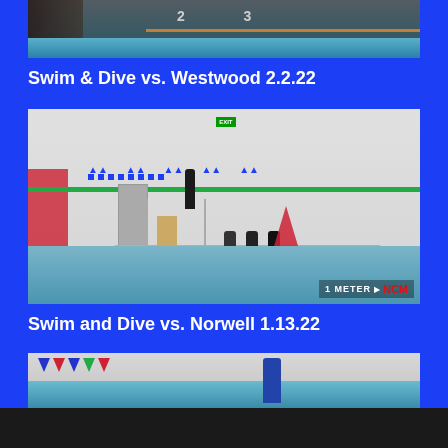[Figure (photo): Partial view of indoor swimming pool with lane dividers and numbers visible at top of page]
Swim & Dive vs. Westwood 2.2.22
[Figure (photo): Indoor diving facility showing a diver on a 1-meter springboard, several athletes seated nearby, with decorative checkered wall pattern and pool water visible. NCM watermark with '1 METER' text in bottom right corner.]
Swim and Dive vs. Norwell 1.13.22
[Figure (photo): Partial view of another indoor swimming pool facility at bottom of page]